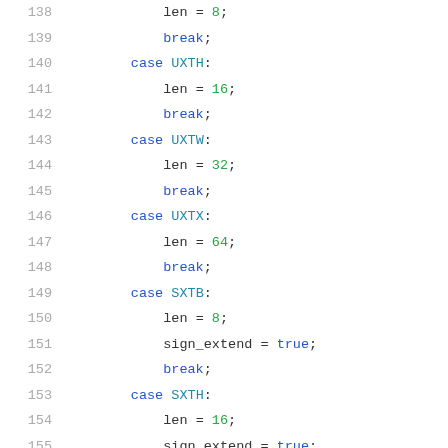Code listing lines 138-159: switch-case block for UXTH, UXTW, UXTX, SXTB, SXTH, SXTW cases setting len and sign_extend variables